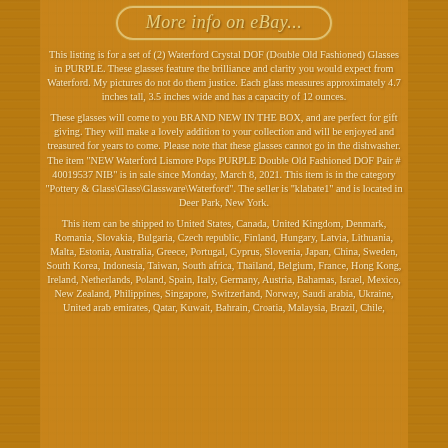[Figure (other): eBay button/badge with text 'More info on eBay...' in rounded rectangle border]
This listing is for a set of (2) Waterford Crystal DOF (Double Old Fashioned) Glasses in PURPLE. These glasses feature the brilliance and clarity you would expect from Waterford. My pictures do not do them justice. Each glass measures approximately 4.7 inches tall, 3.5 inches wide and has a capacity of 12 ounces.
These glasses will come to you BRAND NEW IN THE BOX, and are perfect for gift giving. They will make a lovely addition to your collection and will be enjoyed and treasured for years to come. Please note that these glasses cannot go in the dishwasher. The item "NEW Waterford Lismore Pops PURPLE Double Old Fashioned DOF Pair # 40019537 NIB" is in sale since Monday, March 8, 2021. This item is in the category "Pottery & Glass\Glass\Glassware\Waterford". The seller is "klabate1" and is located in Deer Park, New York.
This item can be shipped to United States, Canada, United Kingdom, Denmark, Romania, Slovakia, Bulgaria, Czech republic, Finland, Hungary, Latvia, Lithuania, Malta, Estonia, Australia, Greece, Portugal, Cyprus, Slovenia, Japan, China, Sweden, South Korea, Indonesia, Taiwan, South africa, Thailand, Belgium, France, Hong Kong, Ireland, Netherlands, Poland, Spain, Italy, Germany, Austria, Bahamas, Israel, Mexico, New Zealand, Philippines, Singapore, Switzerland, Norway, Saudi arabia, Ukraine, United arab emirates, Qatar, Kuwait, Bahrain, Croatia, Malaysia, Brazil, Chile,